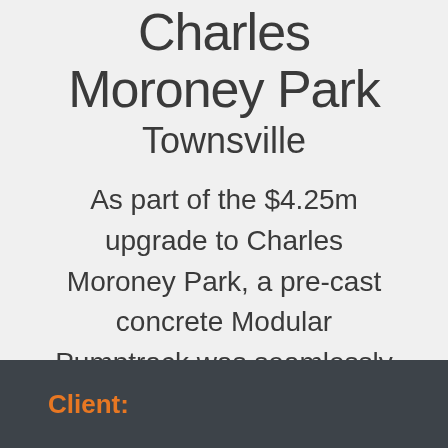Charles Moroney Park
Townsville
As part of the $4.25m upgrade to Charles Moroney Park, a pre-cast concrete Modular Pumptrack was seamlessly integrated into the landscape.
Client: